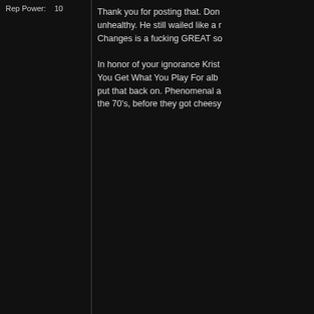Rep Power:    10
Thank you for posting that. Don... unhealthy. He still wailed like a ... Changes is a fucking GREAT so...
In honor of your ignorance Krist... You Get What You Play For alb... put that back on. Phenomenal a... the 70's, before they got cheesy...
05-21-2022, 06:36 PM
Kristy
F A T Barb Lives Matter
DIAMOND STATUS
[Figure (illustration): Flame/fire bar and star rating bar graphic]
[Figure (photo): Avatar photo of a young woman with glasses and brown hair]
Member No:    7609
Join Date:    Aug 2004
Originally Posted by V...
Thank you for posting th... old and unhealthy.
Von, he looks like a fucking spa...